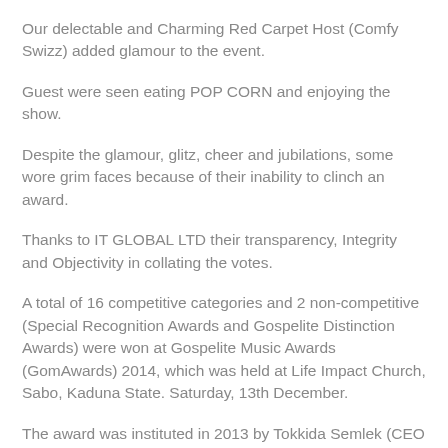Our delectable and Charming Red Carpet Host (Comfy Swizz) added glamour to the event.
Guest were seen eating POP CORN and enjoying the show.
Despite the glamour, glitz, cheer and jubilations, some wore grim faces because of their inability to clinch an award.
Thanks to IT GLOBAL LTD their transparency, Integrity and Objectivity in collating the votes.
A total of 16 competitive categories and 2 non-competitive (Special Recognition Awards and Gospelite Distinction Awards) were won at Gospelite Music Awards (GomAwards) 2014, which was held at Life Impact Church, Sabo, Kaduna State. Saturday, 13th December.
The award was instituted in 2013 by Tokkida Semlek (CEO Tok86 Int'l) to Celebrate, recognise and appreciate talented Gospel Music Ministers.
Below is the full WINNERS list...